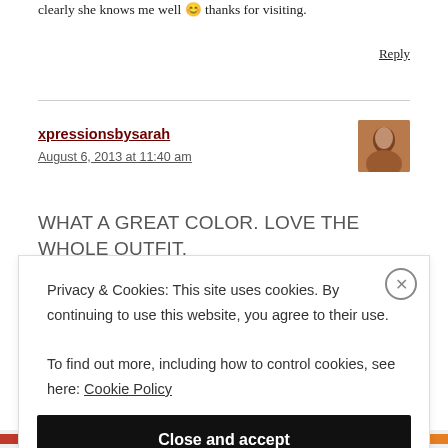clearly she knows me well 😊 thanks for visiting.
Reply
xpressionsbysarah
August 6, 2013 at 11:40 am
[Figure (photo): Avatar/profile photo of commenter xpressionsbysarah]
WHAT A GREAT COLOR. LOVE THE WHOLE OUTFIT. VERY SUMMERY YOU LOOK GREAT.
Privacy & Cookies: This site uses cookies. By continuing to use this website, you agree to their use.
To find out more, including how to control cookies, see here: Cookie Policy
Close and accept